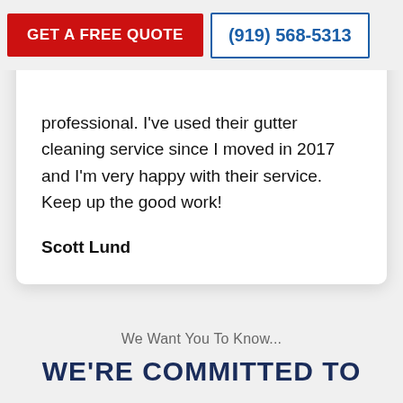GET A FREE QUOTE  |  (919) 568-5313
professional. I've used their gutter cleaning service since I moved in 2017 and I'm very happy with their service. Keep up the good work!
Scott Lund
We Want You To Know...
WE'RE COMMITTED TO